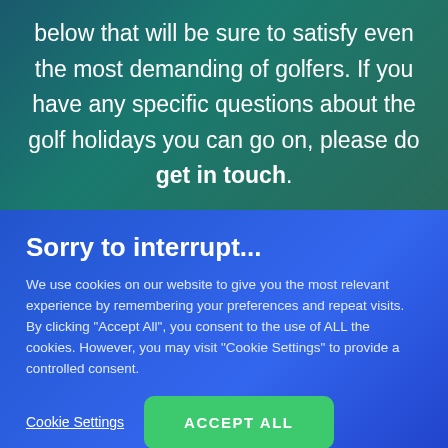below that will be sure to satisfy even the most demanding of golfers. If you have any specific questions about the golf holidays you can go on, please do get in touch.
Sorry to interrupt...
We use cookies on our website to give you the most relevant experience by remembering your preferences and repeat visits. By clicking "Accept All", you consent to the use of ALL the cookies. However, you may visit "Cookie Settings" to provide a controlled consent.
Cookie Settings
ACCEPT ALL